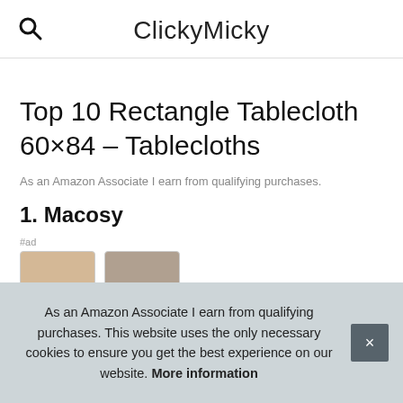ClickyMicky
Top 10 Rectangle Tablecloth 60×84 – Tablecloths
As an Amazon Associate I earn from qualifying purchases.
1. Macosy
#ad
As an Amazon Associate I earn from qualifying purchases. This website uses the only necessary cookies to ensure you get the best experience on our website. More information